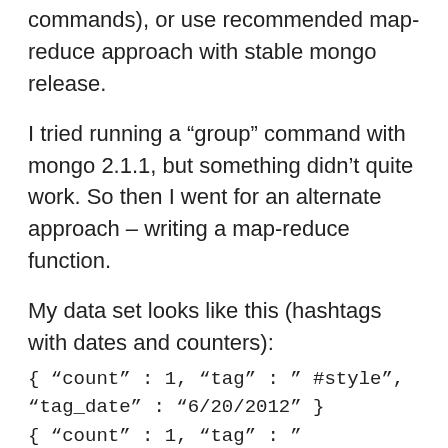commands), or use recommended map-reduce approach with stable mongo release.
I tried running a “group” command with mongo 2.1.1, but something didn’t quite work. So then I went for an alternate approach – writing a map-reduce function.
My data set looks like this (hashtags with dates and counters):
{ “count” : 1, “tag” : ” #style”, “tag_date” : “6/20/2012” }
{ “count” : 1, “tag” : ” #centralpark”, “tag_date” : “6/20/2012” }
{ “count” : 1, “tag” : ” #tisch”, “tag_date” : “6/20/2012” }
{ “count” : 2, “tag” : ” #dogs”, “tag_date” : “6/20/2012” }
{ “count” : 1, “tag” : ” #familytime”, “tag_date” : “6/20/2012” }
{ “count” : 1, “tag” : ” #rbonyc”, “tag_date” : “6/20/2012” }